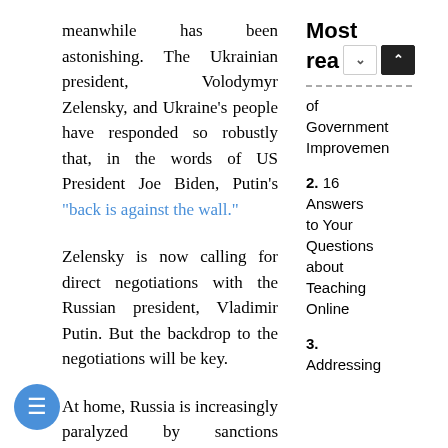meanwhile has been astonishing. The Ukrainian president, Volodymyr Zelensky, and Ukraine's people have responded so robustly that, in the words of US President Joe Biden, Putin's "back is against the wall."
Zelensky is now calling for direct negotiations with the Russian president, Vladimir Putin. But the backdrop to the negotiations will be key.
At home, Russia is increasingly paralyzed by sanctions designed to deepen its financial isolation and use economic chaos. From its central bank to oil, gas, agricultural
Most rea
of Government Improvemen
2. 16 Answers to Your Questions about Teaching Online
3. Addressing the